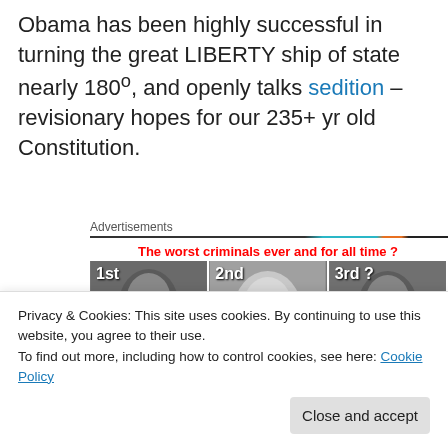Obama has been highly successful in turning the great LIBERTY ship of state nearly 180°, and openly talks sedition – revisionary hopes for our 235+ yr old Constitution.
[Figure (illustration): Advertisement banner titled 'The worst criminals ever and for all time ?' showing three black and white portrait photos labeled 1st, 2nd, 3rd ?]
Socialism at work
Privacy & Cookies: This site uses cookies. By continuing to use this website, you agree to their use. To find out more, including how to control cookies, see here: Cookie Policy
Close and accept